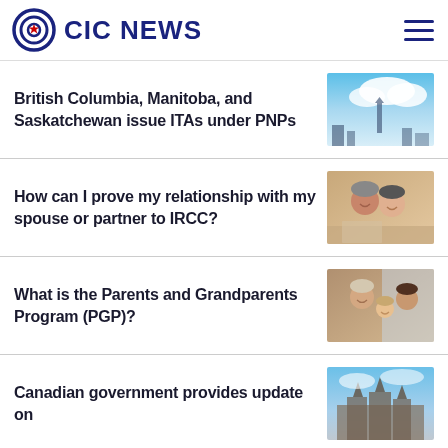CIC NEWS
British Columbia, Manitoba, and Saskatchewan issue ITAs under PNPs
[Figure (photo): Sky with clouds and a tall monument or structure]
How can I prove my relationship with my spouse or partner to IRCC?
[Figure (photo): Happy couple smiling together]
What is the Parents and Grandparents Program (PGP)?
[Figure (photo): Grandparent and grandchildren smiling together]
Canadian government provides update on